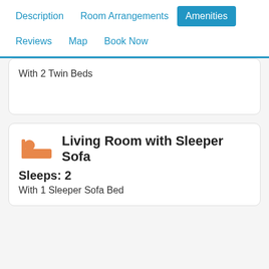Description  Room Arrangements  Amenities  Reviews  Map  Book Now
With 2 Twin Beds
Living Room with Sleeper Sofa
Sleeps: 2
With 1 Sleeper Sofa Bed